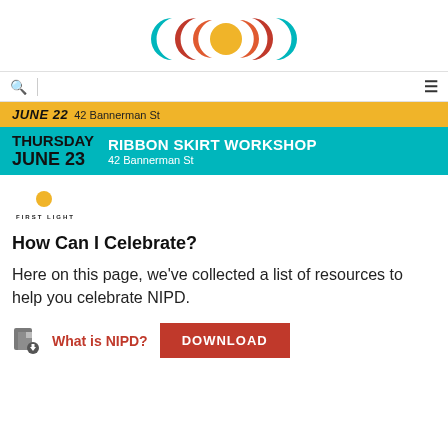[Figure (logo): First Light organization logo — three moon/crescent shapes in teal, red/orange, and gold arranged symmetrically with a central gold circle]
[Figure (screenshot): Navigation bar with search icon and hamburger menu icon]
[Figure (infographic): Yellow banner showing 'JUNE 22  42 Bannerman St' event information (partially visible)]
[Figure (infographic): Teal banner: THURSDAY JUNE 23 — RIBBON SKIRT WORKSHOP, 42 Bannerman St]
[Figure (logo): First Light small logo with moon/crescent shapes in teal, red, and gold, with text FIRST LIGHT below]
How Can I Celebrate?
Here on this page, we've collected a list of resources to help you celebrate NIPD.
[Figure (infographic): Download link row: file icon with down-arrow, red link text 'What is NIPD?', and red DOWNLOAD button]